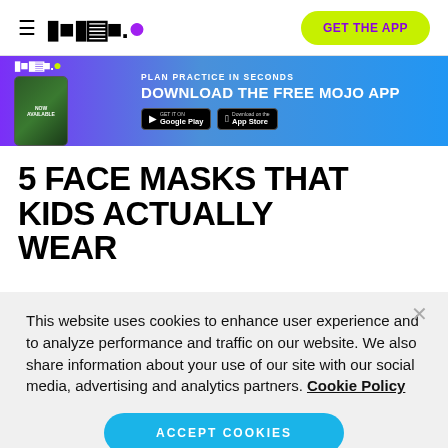MOJO. GET THE APP
[Figure (infographic): Mojo app advertisement banner with purple-to-blue gradient background, Mojo logo, phone mockup, text 'PLAN PRACTICE IN SECONDS DOWNLOAD THE FREE MOJO APP', Google Play and App Store badges]
5 FACE MASKS THAT KIDS ACTUALLY WEAR
This website uses cookies to enhance user experience and to analyze performance and traffic on our website. We also share information about your use of our site with our social media, advertising and analytics partners. Cookie Policy
ACCEPT COOKIES